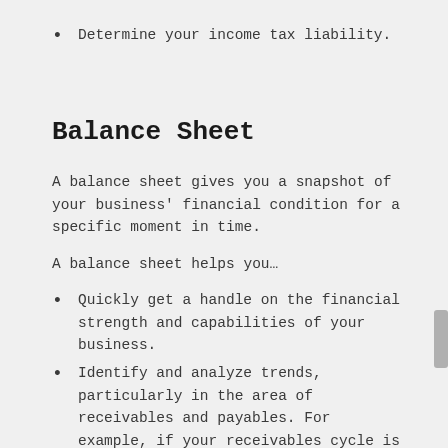Determine your income tax liability.
Balance Sheet
A balance sheet gives you a snapshot of your business' financial condition for a specific moment in time.
A balance sheet helps you…
Quickly get a handle on the financial strength and capabilities of your business.
Identify and analyze trends, particularly in the area of receivables and payables. For example, if your receivables cycle is too long, maybe you